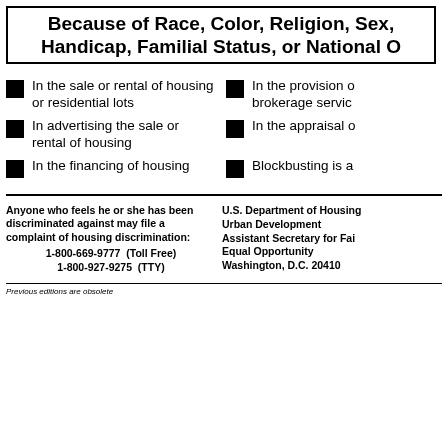Because of Race, Color, Religion, Sex, Handicap, Familial Status, or National O...
In the sale or rental of housing or residential lots
In the provision of real estate brokerage services
In advertising the sale or rental of housing
In the appraisal of housing
In the financing of housing
Blockbusting is also illegal
Anyone who feels he or she has been discriminated against may file a complaint of housing discrimination:
1-800-669-9777 (Toll Free)
1-800-927-9275 (TTY)
U.S. Department of Housing and Urban Development
Assistant Secretary for Fair Housing and Equal Opportunity
Washington, D.C. 20410
Previous editions are obsolete